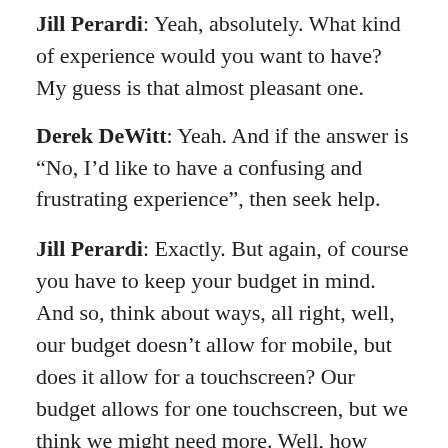Jill Perardi: Yeah, absolutely. What kind of experience would you want to have? My guess is that almost pleasant one.
Derek DeWitt: Yeah. And if the answer is “No, I’d like to have a confusing and frustrating experience”, then seek help.
Jill Perardi: Exactly. But again, of course you have to keep your budget in mind. And so, think about ways, all right, well, our budget doesn’t allow for mobile, but does it allow for a touchscreen? Our budget allows for one touchscreen, but we think we might need more. Well, how about a touchscreen with that big project and then your static non-interactive, traditional digital signage displays elsewhere that’s just showing your map to augment?